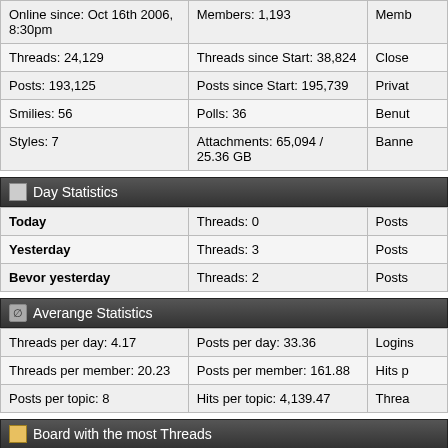| Online since: Oct 16th 2006, 8:30pm | Members: 1,193 | Memb |
| Threads: 24,129 | Threads since Start: 38,824 | Close |
| Posts: 193,125 | Posts since Start: 195,739 | Privat |
| Smilies: 56 | Polls: 36 | Benut |
| Styles: 7 | Attachments: 65,094 / 25.36 GB | Banne |
Day Statistics
| Today | Threads: 0 | Posts |
| Yesterday | Threads: 3 | Posts |
| Bevor yesterday | Threads: 2 | Posts |
Averange Statistics
| Threads per day: 4.17 | Posts per day: 33.36 | Logins |
| Threads per member: 20.23 | Posts per member: 161.88 | Hits p |
| Posts per topic: 8 | Hits per topic: 4,139.47 | Threa |
Board with the most Threads
| Placement | Board |
| --- | --- |
| 1 | Spur 1 Fahrzeuge |
| 2 | Spur 1 Allgemein |